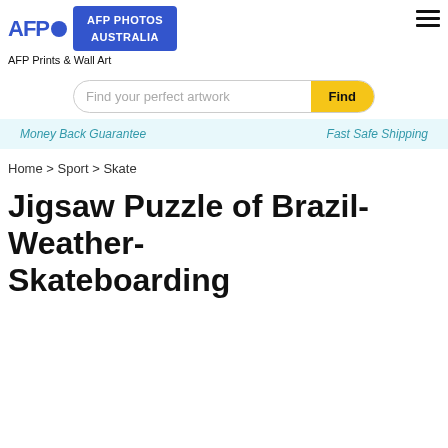AFP PHOTOS AUSTRALIA
AFP Prints & Wall Art
[Figure (other): Search bar with placeholder 'Find your perfect artwork' and a yellow 'Find' button]
Money Back Guarantee    Fast Safe Shipping
Home > Sport > Skate
Jigsaw Puzzle of Brazil-Weather-Skateboarding